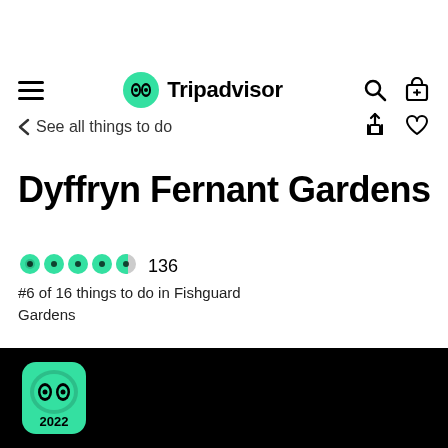[Figure (screenshot): Tripadvisor mobile app navigation bar with hamburger menu, Tripadvisor owl logo, search and cart icons]
< See all things to do
Dyffryn Fernant Gardens
[Figure (other): 4.5 star green bubble rating showing 5 circles, last one half filled]
136
#6 of 16 things to do in Fishguard
Gardens
Visit website ↗   Call   Email   Write a review
[Figure (logo): Tripadvisor 2022 Travelers Choice award badge in green on black footer bar]